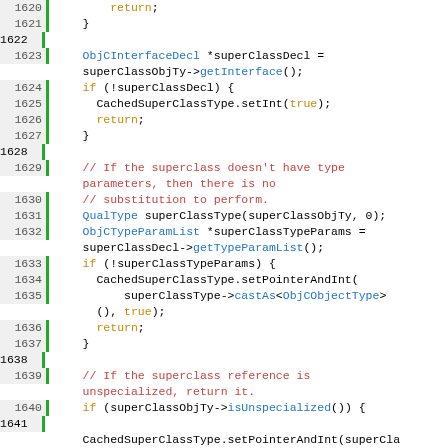[Figure (screenshot): Source code viewer showing C++ lines 1620-1646 with syntax highlighting. Line numbers on left with green vertical bar separator. Keywords in orange, types and function names in blue, comments in red/dark-red, plain code in black.]